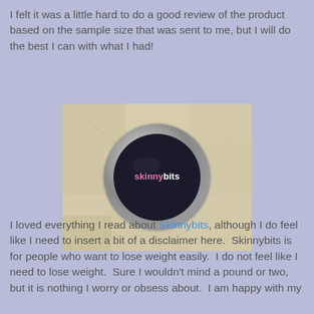I felt it was a little hard to do a good review of the product based on the sample size that was sent to me, but I will do the best I can with what I had!
[Figure (photo): A small round cosmetic container (jar) with a silver rim and black lid labeled 'skinnybits' in pink and white text, resting on a beige stone or marble surface.]
I loved everything I read about Skinnybits, although I do feel like I need to insert a bit of a disclaimer here.  Skinnybits is for people who want to lose weight easily.  I do not feel like I need to lose weight.  Sure I wouldn't mind a pound or two, but it is nothing I worry or obsess about.  I am happy with my